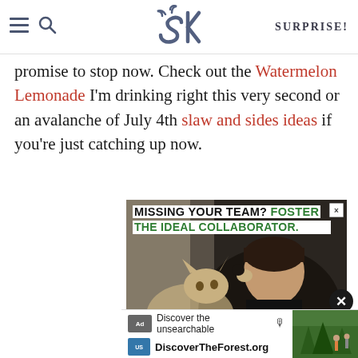SK | SURPRISE!
promise to stop now. Check out the Watermelon Lemonade I'm drinking right this very second or an avalanche of July 4th slaw and sides ideas if you're just catching up now.
[Figure (photo): Advertisement image: Man petting a kitten near a window with text 'MISSING YOUR TEAM? FOSTER THE IDEAL COLLABORATOR.' overlaid, and '#AdoptPureLove' script at the bottom. A secondary ad bar at the bottom reads 'Discover the unsearchable / DiscoverTheForest.org']